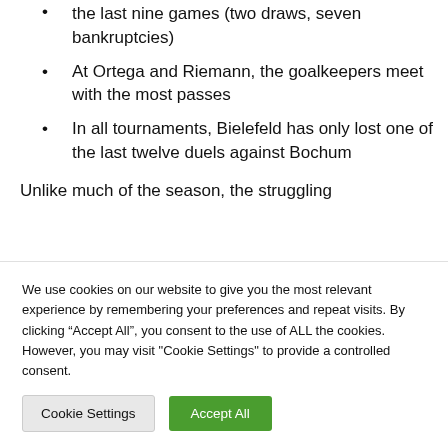the last nine games (two draws, seven bankruptcies)
At Ortega and Riemann, the goalkeepers meet with the most passes
In all tournaments, Bielefeld has only lost one of the last twelve duels against Bochum
Unlike much of the season, the struggling
We use cookies on our website to give you the most relevant experience by remembering your preferences and repeat visits. By clicking “Accept All”, you consent to the use of ALL the cookies. However, you may visit "Cookie Settings" to provide a controlled consent.